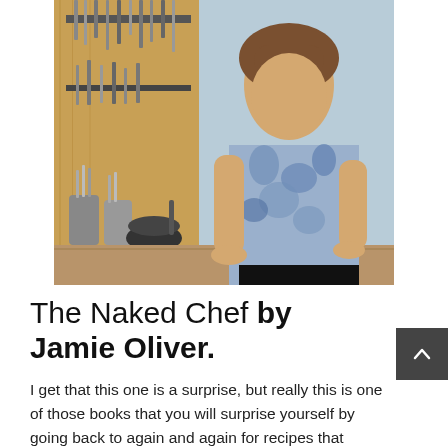[Figure (photo): Photo of Jamie Oliver leaning on a kitchen counter, wearing a blue and white patterned shirt. Behind him is a wooden board with knives and kitchen tools mounted on the wall, and various kitchen utensils and a mortar on the counter.]
The Naked Chef by Jamie Oliver.
I get that this one is a surprise, but really this is one of those books that you will surprise yourself by going back to again and again for recipes that include British dishes, pasta and